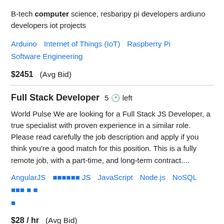B-tech computer science, resbaripy pi developers ardiuno developers iot projects
Arduino   Internet of Things (IoT)   Raspberry Pi   Software Engineering
$2451  (Avg Bid)
Full Stack Developer  5 🕐 left
World Pulse We are looking for a Full Stack JS Developer, a true specialist with proven experience in a similar role. Please read carefully the job description and apply if you think you're a good match for this position. This is a fully remote job, with a part-time, and long-term contract....
AngularJS  AngularJS  JavaScript  Node.js  NoSQL  NoSQL
$28 / hr  (Avg Bid)